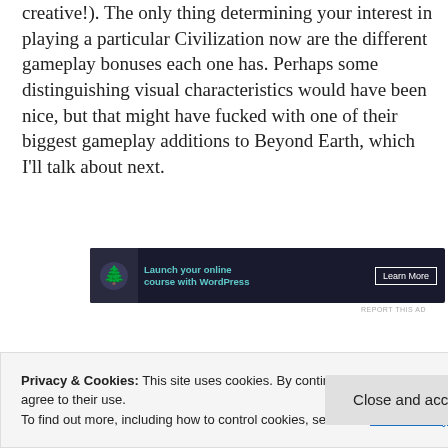creative!). The only thing determining your interest in playing a particular Civilization now are the different gameplay bonuses each one has. Perhaps some distinguishing visual characteristics would have been nice, but that might have fucked with one of their biggest gameplay additions to Beyond Earth, which I'll talk about next.
[Figure (other): Advertisement banner: dark navy background with a bonsai tree icon on the left, teal text reading 'Launch your online course with WordPress', and a 'Learn More' button on the right.]
REPORT THIS AD
Privacy & Cookies: This site uses cookies. By continuing to use this website, you agree to their use. To find out more, including how to control cookies, see here: Cookie Policy
Close and accept